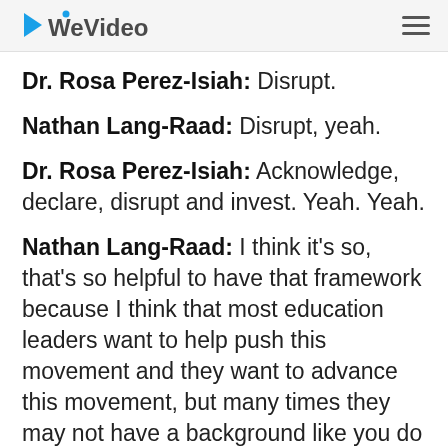WeVideo
Dr. Rosa Perez-Isiah: Disrupt.
Nathan Lang-Raad: Disrupt, yeah.
Dr. Rosa Perez-Isiah: Acknowledge, declare, disrupt and invest. Yeah. Yeah.
Nathan Lang-Raad: I think it's so, that's so helpful to have that framework because I think that most education leaders want to help push this movement and they want to advance this movement, but many times they may not have a background like you do and anti-racism education and so it's